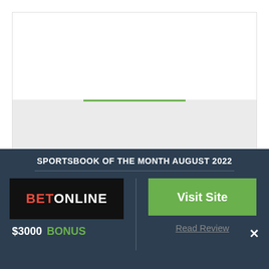[Figure (other): Light gray placeholder image area for author photo]
Kyle E / Author
Kyle is a veteran of TheSportsGeek and has spent nearly a decade providing accurate sports picks and writeups here. He has been a sports handicapper for 10+ years and started sharing his picks an
SPORTSBOOK OF THE MONTH AUGUST 2022
[Figure (logo): BetOnline logo — black background, red BET, white ONLINE]
$3000  BONUS
Visit Site
Read Review